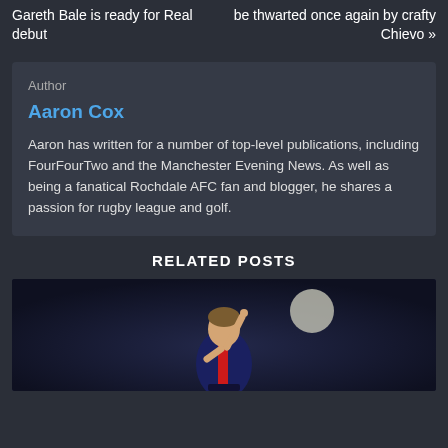Gareth Bale is ready for Real debut
be thwarted once again by crafty Chievo »
Author
Aaron Cox
Aaron has written for a number of top-level publications, including FourFourTwo and the Manchester Evening News. As well as being a fanatical Rochdale AFC fan and blogger, he shares a passion for rugby league and golf.
RELATED POSTS
[Figure (photo): Photo of a football player pointing upward, likely Lionel Messi, with a bright circular light/moon in the background, dark stadium setting]